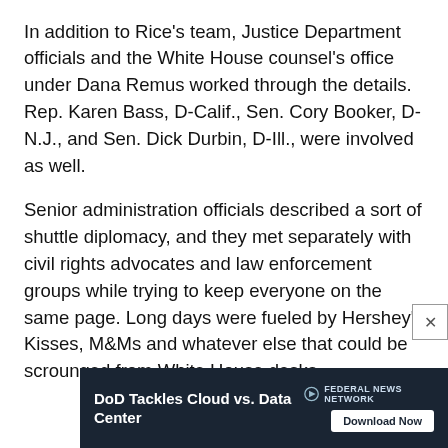In addition to Rice's team, Justice Department officials and the White House counsel's office under Dana Remus worked through the details. Rep. Karen Bass, D-Calif., Sen. Cory Booker, D-N.J., and Sen. Dick Durbin, D-Ill., were involved as well.
Senior administration officials described a sort of shuttle diplomacy, and they met separately with civil rights advocates and law enforcement groups while trying to keep everyone on the same page. Long days were fueled by Hershey's Kisses, M&Ms and whatever else that could be scrounged from White House desks.
[Figure (other): Advertisement banner for Federal News Network: 'DoD Tackles Cloud vs. Data Center' with a Download Now button]